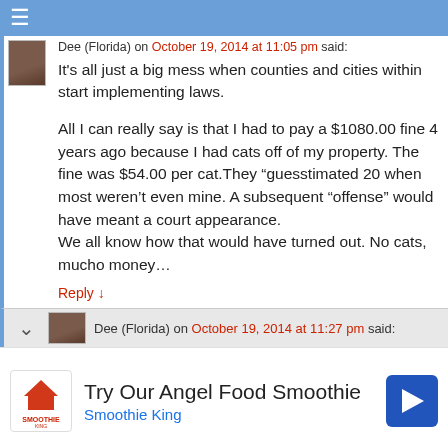≡
Dee (Florida) on October 19, 2014 at 11:05 pm said:
It's all just a big mess when counties and cities within start implementing laws.

All I can really say is that I had to pay a $1080.00 fine 4 years ago because I had cats off of my property. The fine was $54.00 per cat.They “guesstimated 20 when most weren't even mine. A subsequent “offense” would have meant a court appearance.
We all know how that would have turned out. No cats, mucho money…
Reply ↓
Dee (Florida) on October 19, 2014 at 11:27 pm said:
Try Our Angel Food Smoothie
Smoothie King